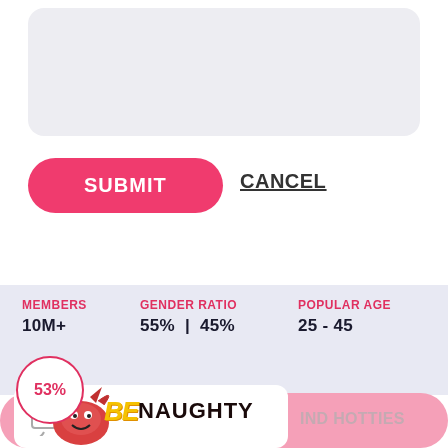[Figure (screenshot): Light gray rounded rectangle text input area at top of mobile app screen]
SUBMIT
CANCEL
MEMBERS
10M+
GENDER RATIO
55% | 45%
POPULAR AGE
25 - 45
53%
[Figure (logo): BeNaughty logo with devil mascot and yellow BE text with dark NAUGHTY text]
IND HOTTIES